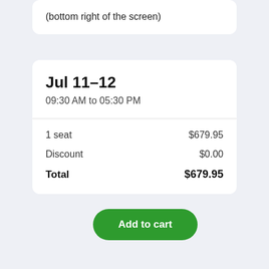(bottom right of the screen)
Jul 11–12
09:30 AM to 05:30 PM
| Item | Amount |
| --- | --- |
| 1 seat | $679.95 |
| Discount | $0.00 |
| Total | $679.95 |
Add to cart